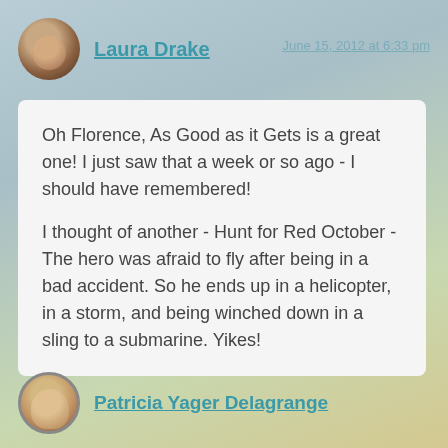Laura Drake
June 15, 2012 at 6:33 pm
Oh Florence, As Good as it Gets is a great one! I just saw that a week or so ago - I should have remembered!

I thought of another - Hunt for Red October - The hero was afraid to fly after being in a bad accident. So he ends up in a helicopter, in a storm, and being winched down in a sling to a submarine. Yikes!
Patricia Yager Delagrange